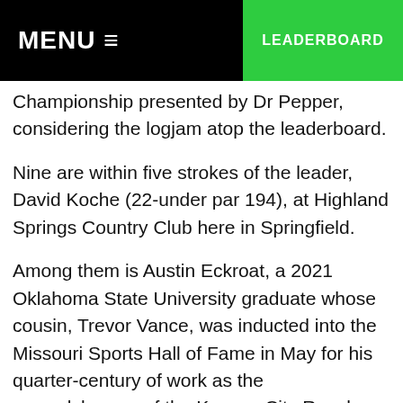MENU ☰   LEADERBOARD
Championship presented by Dr Pepper, considering the logjam atop the leaderboard.
Nine are within five strokes of the leader, David Koche (22-under par 194), at Highland Springs Country Club here in Springfield.
Among them is Austin Eckroat, a 2021 Oklahoma State University graduate whose cousin, Trevor Vance, was inducted into the Missouri Sports Hall of Fame in May for his quarter-century of work as the groundskeeper of the Kansas City Royals.
“He’s always given us tickets to some baseball games. He’s a good guy,” Eckroat said. “I saw that he was inducted. And (joining George) would be a great...